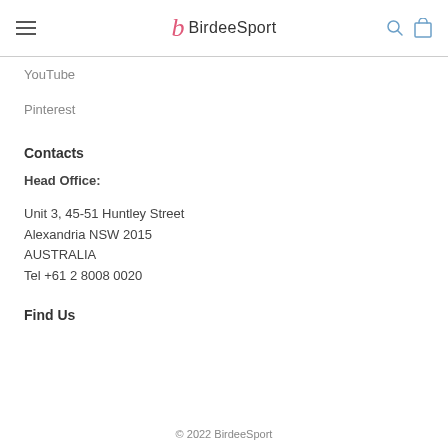BirdeeSport
YouTube
Pinterest
Contacts
Head Office:
Unit 3, 45-51 Huntley Street
Alexandria NSW 2015
AUSTRALIA
Tel +61 2 8008 0020
Find Us
© 2022 BirdeeSport